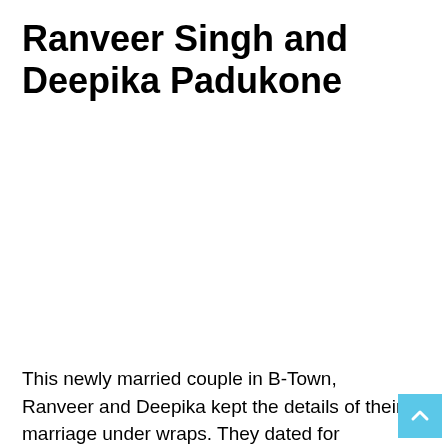Ranveer Singh and Deepika Padukone
This newly married couple in B-Town, Ranveer and Deepika kept the details of their marriage under wraps. They dated for